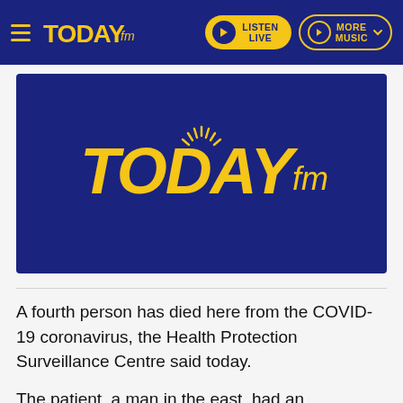Today FM - LISTEN LIVE | MORE MUSIC
[Figure (logo): Today FM logo in yellow on dark navy blue background]
A fourth person has died here from the COVID-19 coronavirus, the Health Protection Surveillance Centre said today.
The patient, a man in the east, had an underlying health condition.